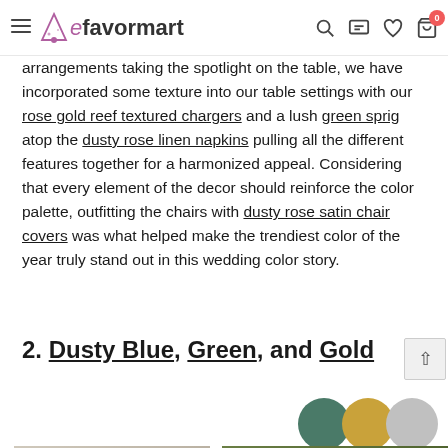efavormart — navigation bar with search, chat, wishlist, and cart icons
arrangements taking the spotlight on the table, we have incorporated some texture into our table settings with our rose gold reef textured chargers and a lush green sprig atop the dusty rose linen napkins pulling all the different features together for a harmonized appeal. Considering that every element of the decor should reinforce the color palette, outfitting the chairs with dusty rose satin chair covers was what helped make the trendiest color of the year truly stand out in this wedding color story.
2. Dusty Blue, Green, and Gold
[Figure (illustration): Three overlapping color swatches: dark green circle, gold/mustard circle, and light silver/grey circle]
[Figure (photo): Photo of a white wedding cake against a stone brick wall with greenery]
[Figure (photo): Photo of outdoor trees with string lights and lush green foliage]